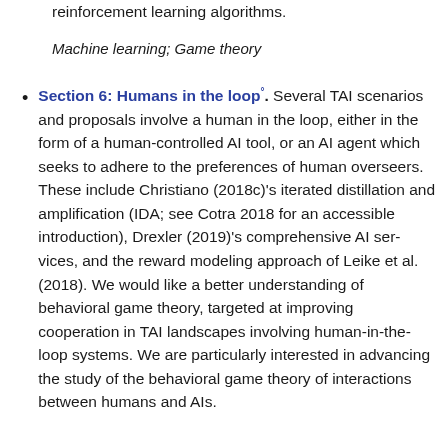reinforcement learning algorithms.
Machine learning; Game theory
Section 6: Humans in the loop°. Several TAI scenarios and proposals involve a human in the loop, either in the form of a human-controlled AI tool, or an AI agent which seeks to adhere to the preferences of human overseers. These include Christiano (2018c)'s iterated distillation and amplification (IDA; see Cotra 2018 for an accessible introduction), Drexler (2019)'s comprehensive AI ser-vices, and the reward modeling approach of Leike et al. (2018). We would like a better understanding of behavioral game theory, targeted at improving cooperation in TAI landscapes involving human-in-the-loop systems. We are particularly interested in advancing the study of the behavioral game theory of interactions between humans and AIs.